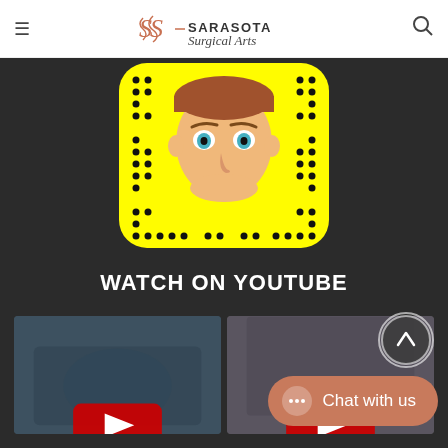≡ SS — SARASOTA Surgical Arts 🔍
[Figure (illustration): Snapchat Bitmoji QR code — yellow rounded square with cartoon male face avatar and Snapchat dot-matrix pattern]
WATCH ON YOUTUBE
[Figure (photo): Two YouTube video thumbnails side by side — left shows hands with YouTube play button overlay, right shows person with YouTube play button overlay]
[Figure (other): Scroll-to-top circular button (white circle with upward arrow)]
[Figure (other): Chat with us button — salmon/rose colored pill shape with chat dots icon and text 'Chat with us']